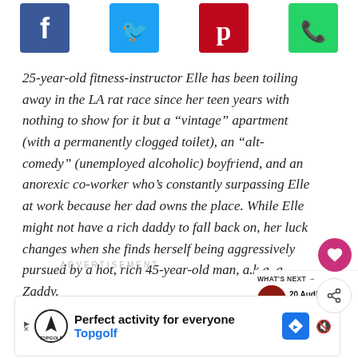[Figure (other): Social share buttons bar at top: Facebook (blue), Twitter (blue), Pinterest (red/crimson), WhatsApp (green)]
25-year-old fitness-instructor Elle has been toiling away in the LA rat race since her teen years with nothing to show for it but a “vintage” apartment (with a permanently clogged toilet), an “alt-comedy” (unemployed alcoholic) boyfriend, and an anorexic co-worker who’s constantly surpassing Elle at work because her dad owns the place. While Elle might not have a rich daddy to fall back on, her luck changes when she finds herself being aggressively pursued by a hot, rich 45-year-old man, a.k.a. a Zaddy.
ADVERTISEMENT
[Figure (other): What's Next sidebar with thumbnail and text: 20 Audible Plus Roman...]
[Figure (other): Bottom advertisement banner: Perfect activity for everyone - Topgolf]